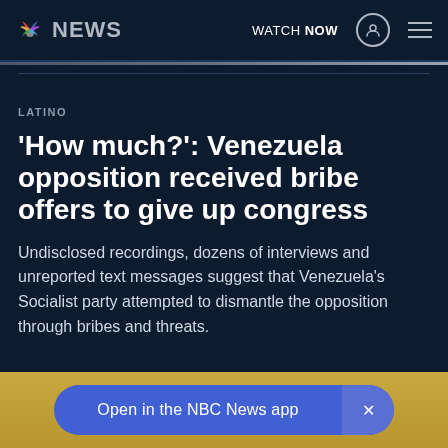NBC NEWS — WATCH NOW
LATINO
'How much?': Venezuela opposition received bribe offers to give up congress
Undisclosed recordings, dozens of interviews and unreported text messages suggest that Venezuela's Socialist party attempted to dismantle the opposition through bribes and threats.
Open in the NBC News app